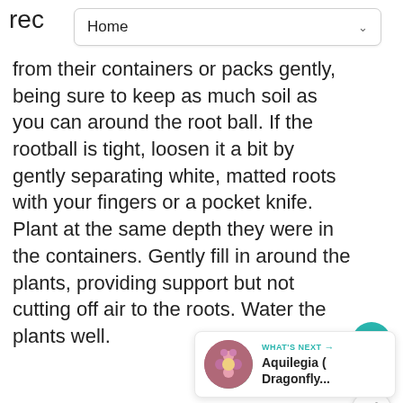Home
rec from their containers or packs gently, being sure to keep as much soil as you can around the root ball. If the rootball is tight, loosen it a bit by gently separating white, matted roots with your fingers or a pocket knife. Plant at the same depth they were in the containers. Gently fill in around the plants, providing support but not cutting off air to the roots. Water the plants well.
[Figure (other): Heart/like button (teal circle with heart icon), like count '1', and share button (white circle with share icon)]
[Figure (other): What's Next card with flower thumbnail image and text 'Aquilegia (Dragonfly...']